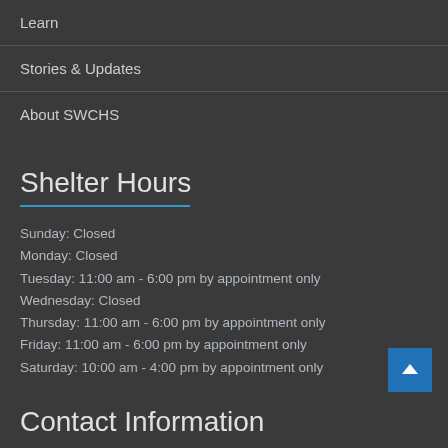Learn
Stories & Updates
About SWCHS
Shelter Hours
Sunday: Closed
Monday: Closed
Tuesday: 11:00 am - 6:00 pm by appointment only
Wednesday: Closed
Thursday: 11:00 am - 6:00 pm by appointment only
Friday: 11:00 am - 6:00 pm by appointment only
Saturday: 10:00 am - 4:00 pm by appointment only
Contact Information